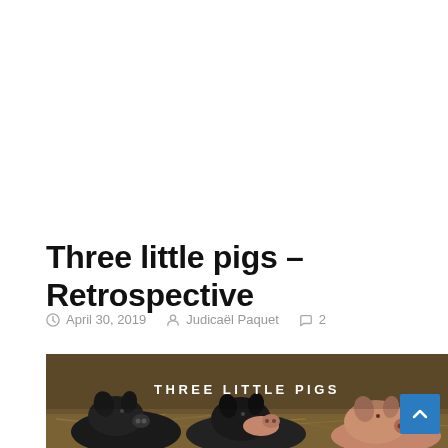Three little pigs – Retrospective
April 30, 2019  Judicaël Paquet  2
[Figure (photo): Photo of three little pigs with text overlay 'THREE LITTLE PIGS' in white uppercase letters on a background of piglets in straw]